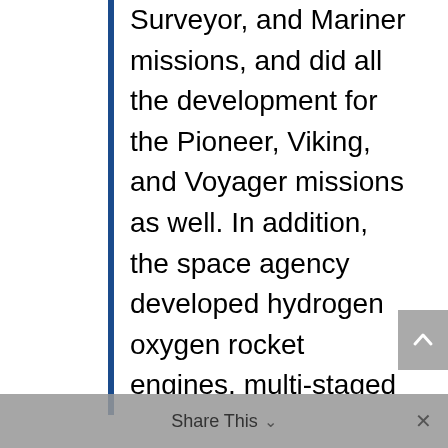Surveyor, and Mariner missions, and did all the development for the Pioneer, Viking, and Voyager missions as well. In addition, the space agency developed hydrogen oxygen rocket engines, multi-staged heavy-lift launch vehicles, nuclear rocket engines, space nuclear reactors, radioisotope power generators, spacesuits, in-space life support systems, orbital rendezvous techniques, soft landing rocket technologies, interplanetary navigation technology, deep space data transmission techniques, reentry technology, and more. In addition, such valuable